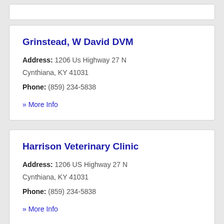Grinstead, W David DVM
Address: 1206 Us Highway 27 N Cynthiana, KY 41031
Phone: (859) 234-5838
» More Info
Harrison Veterinary Clinic
Address: 1206 US Highway 27 N Cynthiana, KY 41031
Phone: (859) 234-5838
» More Info